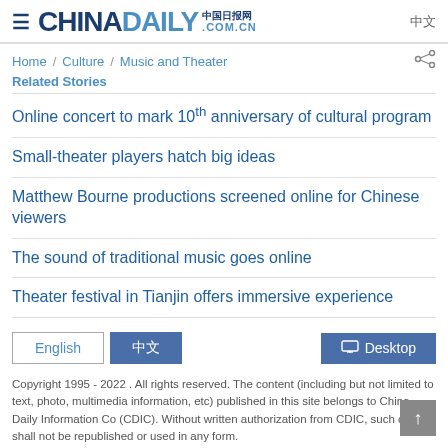CHINADAILY 中国日报网 .COM.CN 中文
Home / Culture / Music and Theater   Related Stories
Online concert to mark 10th anniversary of cultural program
Small-theater players hatch big ideas
Matthew Bourne productions screened online for Chinese viewers
The sound of traditional music goes online
Theater festival in Tianjin offers immersive experience
Copyright 1995 - 2022 . All rights reserved. The content (including but not limited to text, photo, multimedia information, etc) published in this site belongs to China Daily Information Co (CDIC). Without written authorization from CDIC, such content shall not be republished or used in any form.